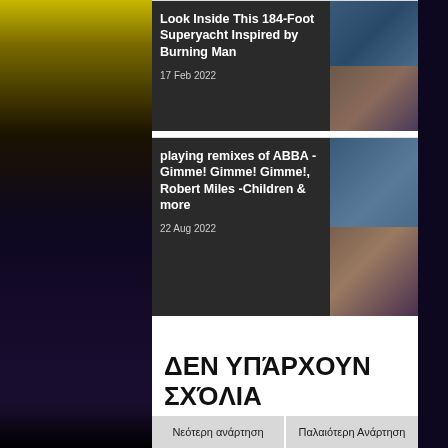[Figure (photo): Concert/music event scene on left background with yellow and purple stage lighting and crowd]
Look Inside This 184-foot Superyacht Inspired by Burning Man
17 Feb 2022
[Figure (photo): Article thumbnail image of superyacht]
playing remixes of ABBA - Gimme! Gimme! Gimme!, Robert Miles -Children & more
22 Aug 2022
[Figure (photo): Article thumbnail image of music event]
ΔΕΝ ΥΠΆΡΧΟΥΝ ΣΧΌΛΙΑ
Δημοσίευση σχολίου
Νεότερη ανάρτηση
Παλαιότερη Ανάρτηση